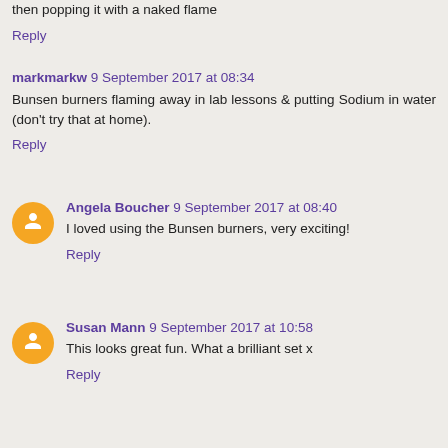then popping it with a naked flame
Reply
markmarkw  9 September 2017 at 08:34
Bunsen burners flaming away in lab lessons & putting Sodium in water (don't try that at home).
Reply
Angela Boucher  9 September 2017 at 08:40
I loved using the Bunsen burners, very exciting!
Reply
Susan Mann  9 September 2017 at 10:58
This looks great fun. What a brilliant set x
Reply